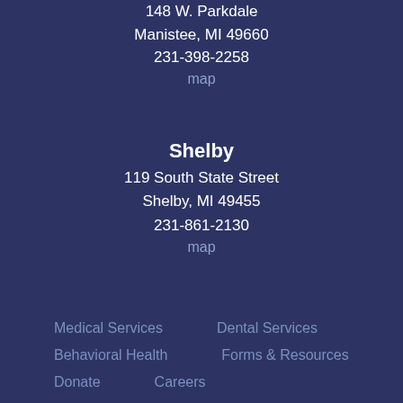148 W. Parkdale
Manistee, MI 49660
231-398-2258
map
Shelby
119 South State Street
Shelby, MI 49455
231-861-2130
map
Medical Services
Dental Services
Behavioral Health
Forms & Resources
Donate
Careers